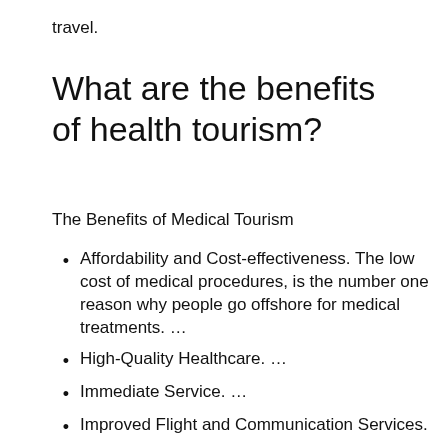travel.
What are the benefits of health tourism?
The Benefits of Medical Tourism
Affordability and Cost-effectiveness. The low cost of medical procedures, is the number one reason why people go offshore for medical treatments. …
High-Quality Healthcare. …
Immediate Service. …
Improved Flight and Communication Services. …
Travel Opportunities.